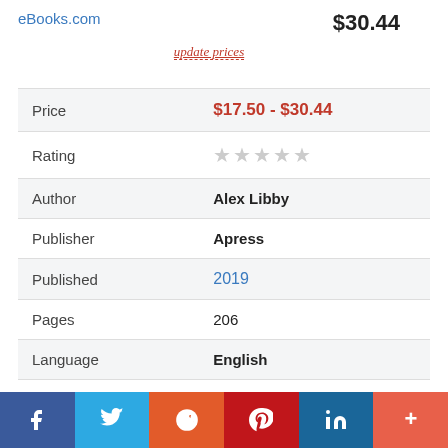eBooks.com
$30.44
update prices
|  |  |
| --- | --- |
| Price | $17.50 - $30.44 |
| Rating | ☆☆☆☆☆ |
| Author | Alex Libby |
| Publisher | Apress |
| Published | 2019 |
| Pages | 206 |
| Language | English |
| Format | Paper book / ebook (PDF) |